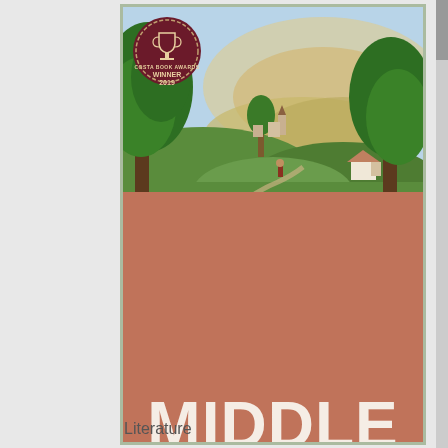[Figure (illustration): Book cover of 'Middle England' by Jonathan Coe. Top half shows an illustrated English countryside landscape with green trees, rolling hills, a small village with a church in the background, a figure walking on a path, and a sky with warm sunset hues. Bottom half is a terracotta/rose pink with the title 'MIDDLE ENGLAND' in large white bold letters, a blurb quote, and the author name 'JONATHAN COE'. A circular medallion in top-left corner reads 'COSTA BOOK AWARDS WINNER 2019'.]
Literature